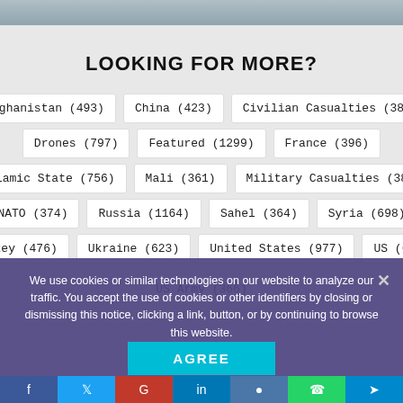[Figure (photo): Blurred aerial/military photograph at top of page]
LOOKING FOR MORE?
Afghanistan (493)
China (423)
Civilian Casualties (388)
Drones (797)
Featured (1299)
France (396)
Islamic State (756)
Mali (361)
Military Casualties (387)
NATO (374)
Russia (1164)
Sahel (364)
Syria (698)
Turkey (476)
Ukraine (623)
United States (977)
US (625)
US Army (366)
We use cookies or similar technologies on our website to analyze our traffic. You accept the use of cookies or other identifiers by closing or dismissing this notice, clicking a link, button, or by continuing to browse this website.
AGREE